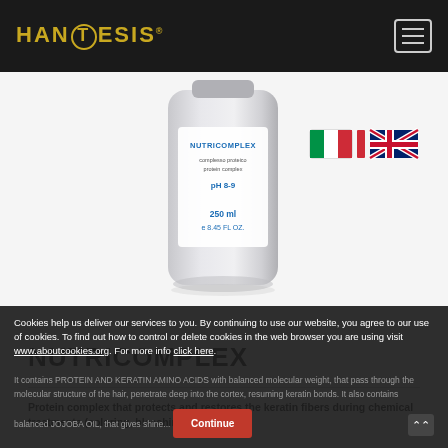HANTESIS
[Figure (photo): Product bottle of NUTRICOMPLEX protein complex, pH 8-9, 250ml / 8.45 FL OZ, with Italian and UK flag icons]
NUTRICOMPLEX
Protein complex that protects and restores the keratin fibers during chemical treatments (coloring, bleaching, perm, etc.).
It contains PROTEIN AND KERATIN AMINO ACIDS with balanced molecular weight, that pass through the molecular structure of the hair, penetrate deep into the cortex, resuming keratin bonds. It also contains balanced JOJOBA OIL, that gives shine...
Cookies help us deliver our services to you. By continuing to use our website, you agree to our use of cookies. To find out how to control or delete cookies in the web browser you are using visit www.aboutcookies.org. For more info click here.